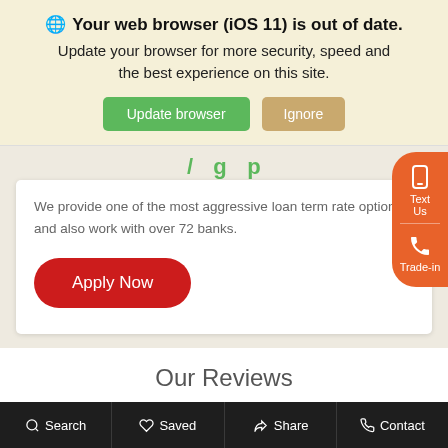Your web browser (iOS 11) is out of date.
Update your browser for more security, speed and the best experience on this site.
We provide one of the most aggressive loan term rate options and also work with over 72 banks.
Our Reviews
Search  Saved  Share  Contact